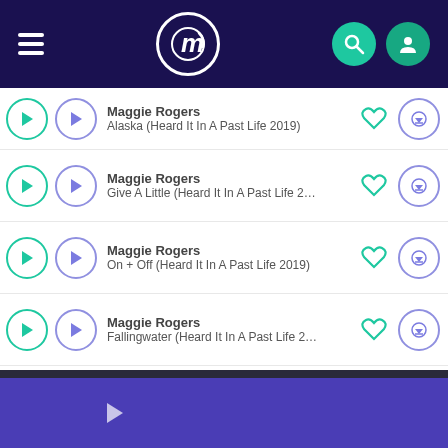Music app header with hamburger menu, logo, search and user icons
Maggie Rogers — Alaska (Heard It In A Past Life 2019)
Maggie Rogers — Give A Little (Heard It In A Past Life 2…
Maggie Rogers — On + Off (Heard It In A Past Life 2019)
Maggie Rogers — Fallingwater (Heard It In A Past Life 2…
Maggie Rogers — Say It (Heard It In A Past Life 2019)
[Figure (screenshot): Music player bottom bar with purple background and play button]